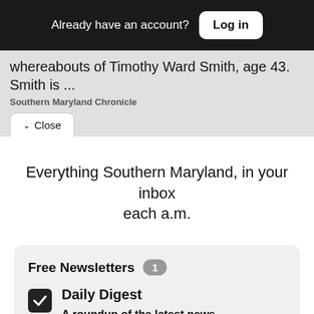Already have an account? Log in
whereabouts of Timothy Ward Smith, age 43. Smith is ...
Southern Maryland Chronicle
Close
Everything Southern Maryland, in your inbox each a.m.
Free Newsletters 1
Daily Digest
A roundup of the latest news, delivered weekday mornings.